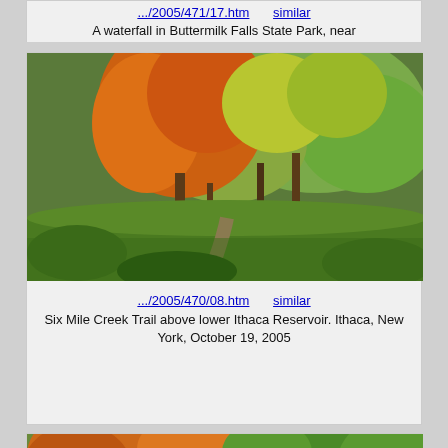.../2005/471/17.htm   similar
A waterfall in Buttermilk Falls State Park, near
[Figure (photo): Autumn forest trail scene with orange and green trees along Six Mile Creek Trail above lower Ithaca Reservoir, Ithaca, New York, October 19, 2005]
.../2005/470/08.htm   similar
Six Mile Creek Trail above lower Ithaca Reservoir. Ithaca, New York, October 19, 2005
[Figure (photo): Autumn gorge scene with orange and green foliage along a creek, partially visible at bottom of page]